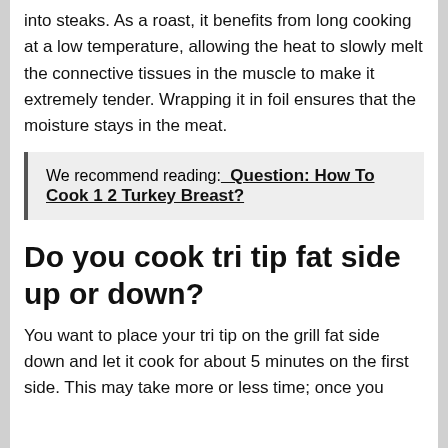into steaks. As a roast, it benefits from long cooking at a low temperature, allowing the heat to slowly melt the connective tissues in the muscle to make it extremely tender. Wrapping it in foil ensures that the moisture stays in the meat.
We recommend reading:  Question: How To Cook 1 2 Turkey Breast?
Do you cook tri tip fat side up or down?
You want to place your tri tip on the grill fat side down and let it cook for about 5 minutes on the first side. This may take more or less time; once you